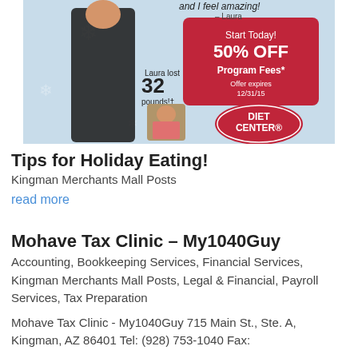[Figure (photo): Diet Center advertisement showing a woman in a black dress, a before photo, snowflake background, red promotional box reading 'Start Today! 50% OFF Program Fees* Offer expires 12/31/15', and Diet Center logo oval in red.]
Tips for Holiday Eating!
Kingman Merchants Mall Posts
read more
Mohave Tax Clinic – My1040Guy
Accounting, Bookkeeping Services, Financial Services, Kingman Merchants Mall Posts, Legal & Financial, Payroll Services, Tax Preparation
Mohave Tax Clinic - My1040Guy 715 Main St., Ste. A, Kingman, AZ 86401 Tel: (928) 753-1040 Fax: